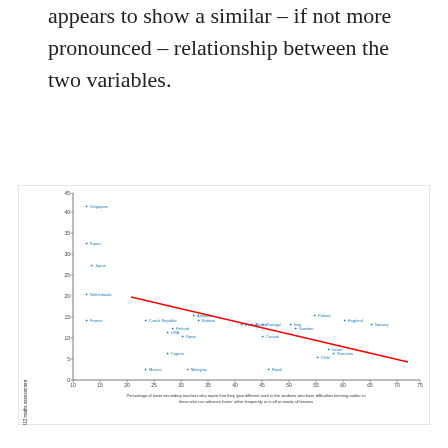appears to show a similar – if not more pronounced – relationship between the two variables.
[Figure (continuous-plot): Scatter plot with a downward-sloping red trend line showing the relationship between percentage of lower secondary teachers who report giving different work to students who have difficulties learning and/or to those who can advance faster (x-axis, 10–75) and percentage achieving L1 to PISA 2012 maths assessment (y-axis, 0–45). Countries plotted include Singapore, Korea, Japan, Netherlands, Poland, France, Czech Republic, Finland, USA, Spain, Cyprus, Mexico, Iceland, Cyprus, Australia, Estonia, Austria, Portugal, Italy, England, Norway, Croatia, Israel, Romania, Chile, Brazil, Malaysia. A red regression line runs from upper-left to lower-right.]